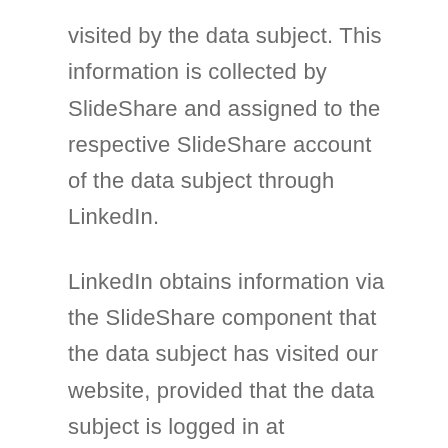visited by the data subject. This information is collected by SlideShare and assigned to the respective SlideShare account of the data subject through LinkedIn.
LinkedIn obtains information via the SlideShare component that the data subject has visited our website, provided that the data subject is logged in at SlideShare at the time of the call-up to our website. This occurs regardless of whether the person clicks on the embedded media data or not. If such a